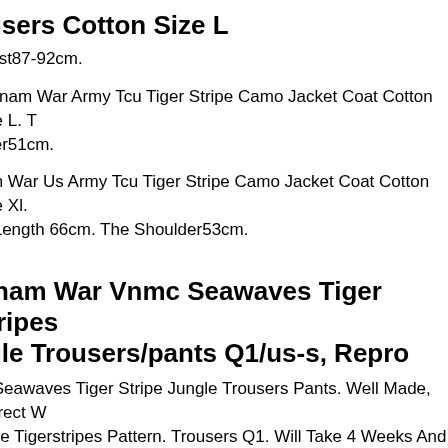ousers Cotton Size L
Waist87-92cm.
Vietnam War Army Tcu Tiger Stripe Camo Jacket Coat Cotton Size L. T
alder51cm.
nam War Us Army Tcu Tiger Stripe Camo Jacket Coat Cotton Size Xl.
ve Length 66cm. The Shoulder53cm.
etnam War Vnmc Seawaves Tiger Stripes
ngle Trousers/pants Q1/us-s, Repro
nc Seawaves Tiger Stripe Jungle Trousers Pants. Well Made, Correct W
wave Tigerstripes Pattern. Trousers Q1. Will Take 4 Weeks And More.
Vietnam War Royal Thai Army "shadow Tiger" Tiger Stripe Camo
orm *new*. New, Unissue, Never Wash, Never Used. Size Small (thai
n Size).